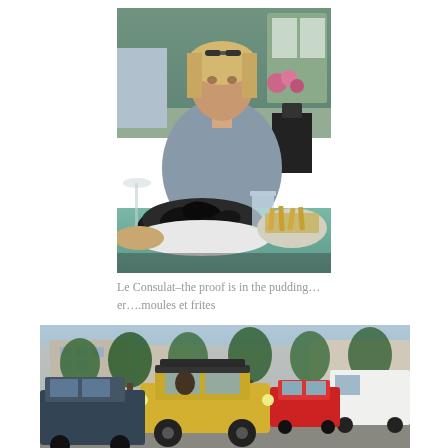[Figure (photo): A woman with blonde hair sitting at an outdoor restaurant table with a large bowl of mussels (moules) and a plate of fries (frites) in front of her. Green chairs and flower decorations visible in the background.]
Le Consulat–the proof is in the pudding…er….moules et frites
[Figure (photo): A street scene showing a yellow Citroën 2CV car in the foreground among traffic, with trees lining the road and buildings in the background. A red car is also visible.]